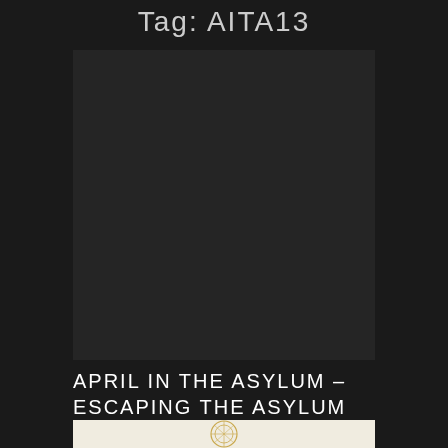Tag: AITA13
[Figure (illustration): Dark book cover, nearly black, with no visible text or illustration — appears as a dark rectangle]
APRIL IN THE ASYLUM – ESCAPING THE ASYLUM
[Figure (illustration): Bottom strip showing partial decorative circular emblem or seal in gold/amber tones on light background]